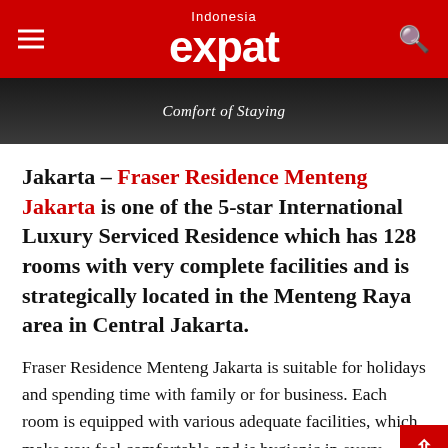Indonesia expat
[Figure (photo): Dark banner image with italic text 'Comfort of Staying' overlaid in white]
Comfort of Staying
Jakarta – Fraser Residence Menteng Jakarta is one of the 5-star International Luxury Serviced Residence which has 128 rooms with very complete facilities and is strategically located in the Menteng Raya area in Central Jakarta.
Fraser Residence Menteng Jakarta is suitable for holidays and spending time with family or for business. Each room is equipped with various adequate facilities, which make you feel comfortable and is hygienic in every